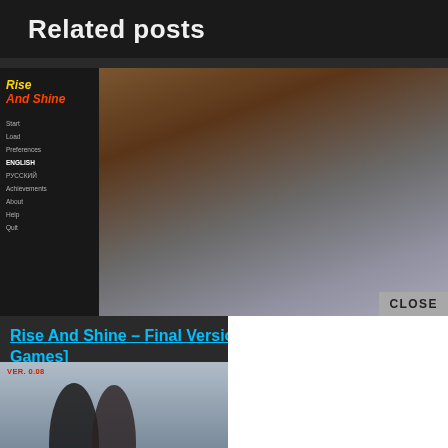Related posts
[Figure (screenshot): Game screenshot showing 'Rise And Shine' title screen with a female character in black outfit sitting on a bed, with a dark left panel containing menu items: Start, Load, Preferences, ENGLISH, РУССКИЙ, Achievements, About, Help, Quit. A CLOSE button overlays the bottom-right corner.]
Rise And Shine – Final Version [Games]
[Figure (screenshot): Game image with VER. 0.08 label and two female character silhouettes against a blurred bokeh background.]